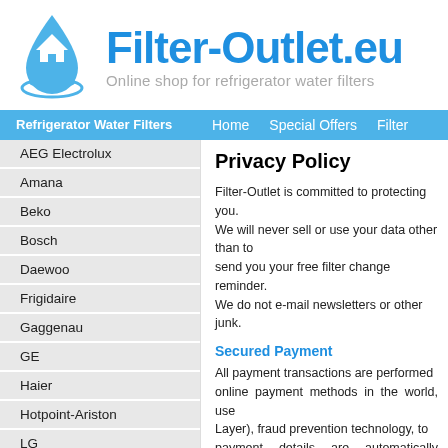[Figure (logo): Filter-Outlet.eu logo with blue water drop and house icon, site name in blue bold text, subtitle 'Online shop for refrigerator water filters' in gray]
Refrigerator Water Filters | Home  Special Offers  Filter
AEG Electrolux
Amana
Beko
Bosch
Daewoo
Frigidaire
Gaggenau
GE
Haier
Hotpoint-Ariston
LG
Liebherr
Privacy Policy
Filter-Outlet is committed to protecting you. We will never sell or use your data other than to send you your free filter change reminder. We do not e-mail newsletters or other junk.
Secured Payment
All payment transactions are performed online payment methods in the world, use Layer), fraud prevention technology, to payment details are automatically encryp revealed to us. Filter-Outlet does not have access to your